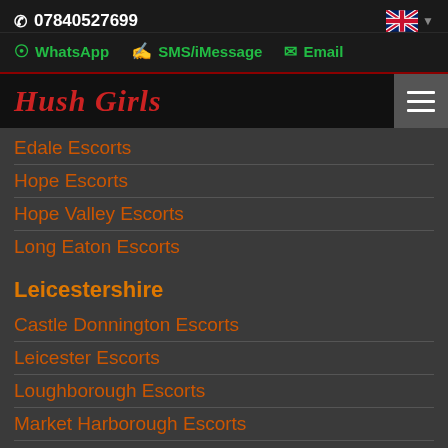07840527699
WhatsApp  SMS/iMessage  Email
Hush Girls
Edale Escorts
Hope Escorts
Hope Valley Escorts
Long Eaton Escorts
Leicestershire
Castle Donnington Escorts
Leicester Escorts
Loughborough Escorts
Market Harborough Escorts
Wigston Magna Escorts